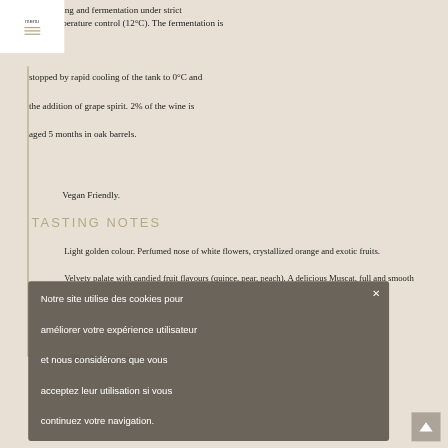menu
ing and fermentation under strict perature control (12°C). The fermentation is stopped by rapid cooling of the tank to 0°C and the addition of grape spirit. 2% of the wine is aged 5 months in oak barrels.
Vegan Friendly.
TASTING NOTES
Light golden colour. Perfumed nose of white flowers, crystallized orange and exotic fruits. Velvety palate with candied fruit flavours (quince, pear, peach). A delicious Muscat, full and smooth with a delicate finish.
Notre site utilise des cookies pour améliorer votre expérience utilisateur et nous considérons que vous acceptez leur utilisation si vous continuez votre navigation.